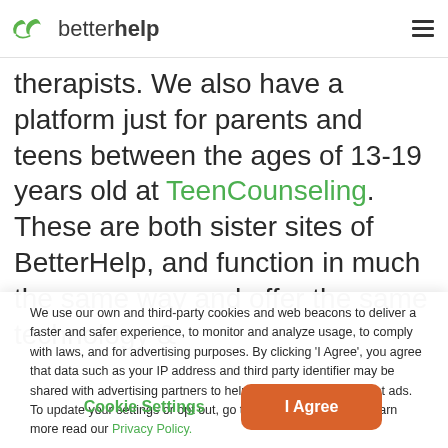betterhelp
therapists. We also have a platform just for parents and teens between the ages of 13-19 years old at TeenCounseling. These are both sister sites of BetterHelp, and function in much the same way and offer the same technology &
We use our own and third-party cookies and web beacons to deliver a faster and safer experience, to monitor and analyze usage, to comply with laws, and for advertising purposes. By clicking 'I Agree', you agree that data such as your IP address and third party identifier may be shared with advertising partners to help us deliver more relevant ads. To update your settings or opt out, go to 'Cookie Settings'. To learn more read our Privacy Policy.
Cookie Settings | I Agree